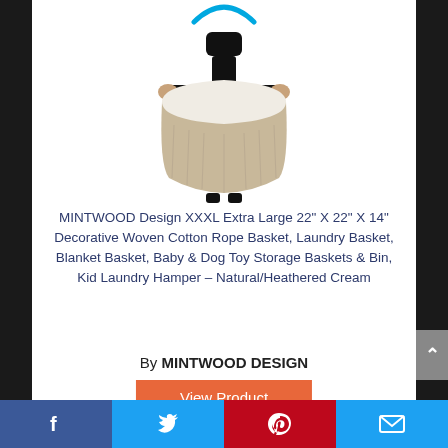[Figure (logo): Amazon logo (partial, top arc in blue)]
[Figure (photo): Person holding a large XXXL woven cotton rope basket - natural/heathered cream color with white top section]
MINTWOOD Design XXXL Extra Large 22" X 22" X 14" Decorative Woven Cotton Rope Basket, Laundry Basket, Blanket Basket, Baby & Dog Toy Storage Baskets & Bin, Kid Laundry Hamper – Natural/Heathered Cream
By MINTWOOD DESIGN
View Product
9.3